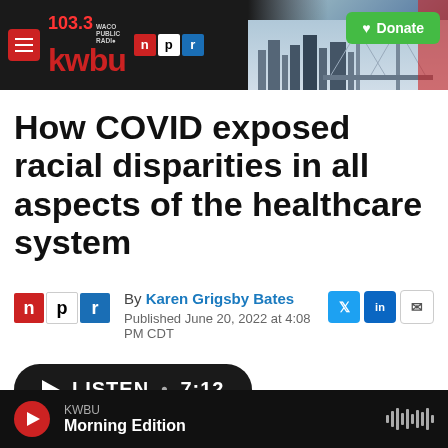KWBU 103.3 Waco Public Radio NPR — Donate
How COVID exposed racial disparities in all aspects of the healthcare system
By Karen Grigsby Bates
Published June 20, 2022 at 4:08 PM CDT
LISTEN • 7:12
KWBU Morning Edition